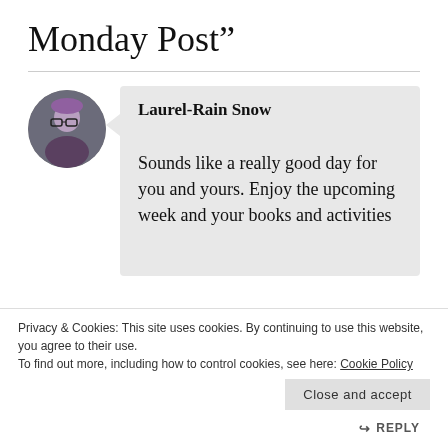Monday Post”
Laurel-Rain Snow
Sounds like a really good day for you and yours. Enjoy the upcoming week and your books and activities
Privacy & Cookies: This site uses cookies. By continuing to use this website, you agree to their use.
To find out more, including how to control cookies, see here: Cookie Policy
Close and accept
REPLY